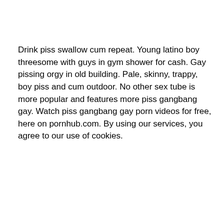Drink piss swallow cum repeat. Young latino boy threesome with guys in gym shower for cash. Gay pissing orgy in old building. Pale, skinny, trappy, boy piss and cum outdoor. No other sex tube is more popular and features more piss gangbang gay. Watch piss gangbang gay porn videos for free, here on pornhub.com. By using our services, you agree to our use of cookies.